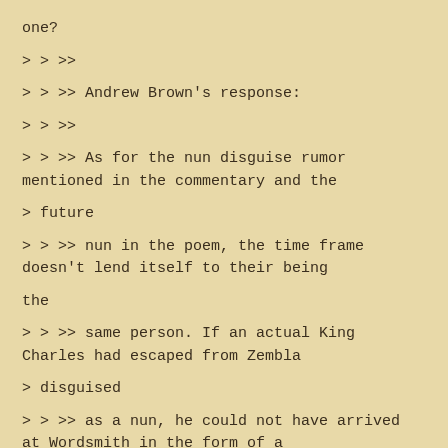one?
> > >>
> > >> Andrew Brown's response:
> > >>
> > >> As for the nun disguise rumor mentioned in the commentary and the
> future
> > >> nun in the poem, the time frame doesn't lend itself to their being
the
> > >> same person. If an actual King Charles had escaped from Zembla
> disguised
> > >> as a nun, he could not have arrived at Wordsmith in the form of a
> "future